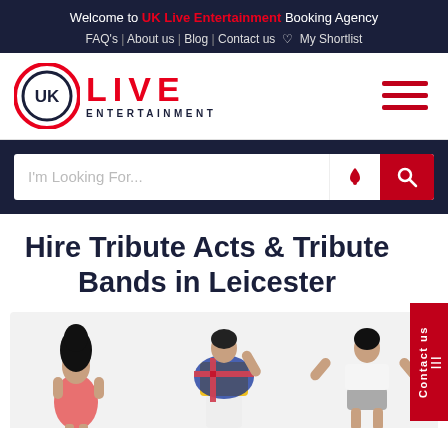Welcome to UK Live Entertainment Booking Agency
FAQ's | About us | Blog | Contact us ♡ My Shortlist
[Figure (logo): UK Live Entertainment logo with red circle, dark blue UK text inside, red LED-style LIVE text, and ENTERTAINMENT subtitle]
[Figure (other): Hamburger menu icon with three red horizontal bars]
I'm Looking For...
Hire Tribute Acts & Tribute Bands in Leicester
[Figure (photo): Three tribute act performers: Amy Winehouse tribute (woman in pink dress with beehive hair), Freddie Mercury tribute (man in yellow jacket and white trousers with Union Jack cape), and a female pop star tribute (woman in white crop top and grey shorts)]